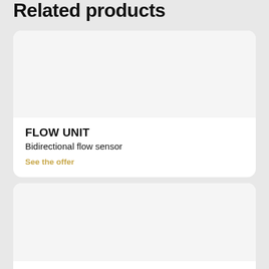Related products
FLOW UNIT
Bidirectional flow sensor
See the offer
Push-Pull
Pressure & Vacuum controller
See the offer